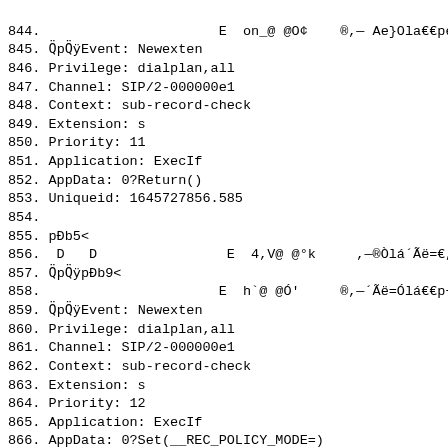844.                      E  on_@ @O¢    ®,— Ae}Ola€€pe
845. Q¨pQ¨ÿEvent: Newexten
846. Privilege: dialplan,all
847. Channel: SIP/2-000000e1
848. Context: sub-record-check
849. Extension: s
850. Priority: 11
851. Application: ExecIf
852. AppData: 0?Return()
853. Uniqueid: 1645727856.585
854.
855. pÐb5<
856.  D   D                E  4,V@ @°k     ,—®Òlá´Ãë=€„
857. Q¨pQ¨ÿpÐb9<
858.                      E  h`@ @Ó'     ®,—´Ãë=Ólá€€p÷
859. Q¨pQ¨ÿEvent: Newexten
860. Privilege: dialplan,all
861. Channel: SIP/2-000000e1
862. Context: sub-record-check
863. Extension: s
864. Priority: 12
865. Application: ExecIf
866. AppData: 0?Set(__REC_POLICY_MODE=)
867. Uniqueid: 1645727856.585
868.
869. pÐbU<
870.  D   D                E  4,W@ @°j     ,—®Òlá´Ãi€„K
871. Q¨pQ¨bpÐb·<
872.                      E  ñha@ @Ó£     ®,—´ÃiÒlá€€på